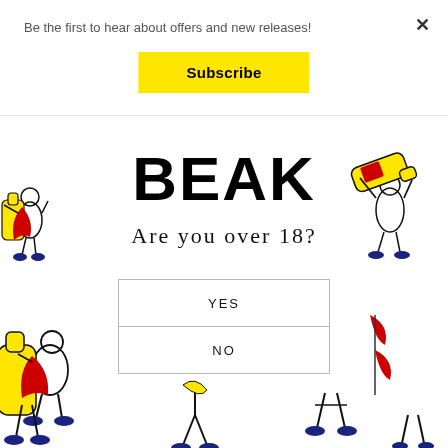Be the first to hear about offers and new releases!
Subscribe
×
BEAK
Are you over 18?
YES
NO
[Figure (illustration): Cartoon figures of people carrying large yellow bottles, with red capes/scarves, dark blue shoes, scattered around the page corners and bottom]